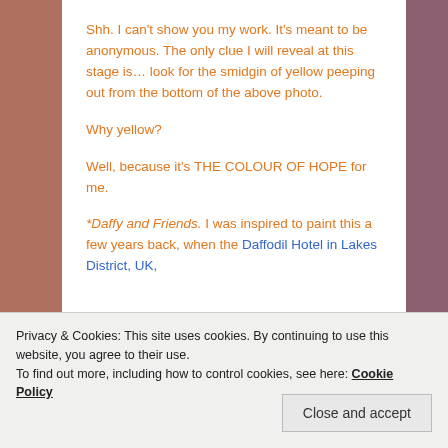Shh. I can't show you my work. It's meant to be anonymous. The only clue I will reveal at this stage is… look for the smidgin of yellow peeping out from the bottom of the above photo.
Why yellow?
Well, because it's THE COLOUR OF HOPE for me.
*Daffy and Friends. I was inspired to paint this a few years back, when the Daffodil Hotel in Lakes District, UK,
Privacy & Cookies: This site uses cookies. By continuing to use this website, you agree to their use.
To find out more, including how to control cookies, see here: Cookie Policy